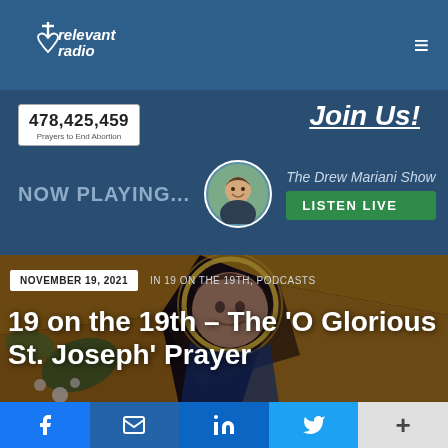relevant radio — navigation bar with hamburger menu
478,425,459 Prayers to End Abortion
Join Us!
NOW PLAYING...
[Figure (photo): Circular portrait photo of Drew Mariani, host of The Drew Mariani Show]
The Drew Mariani Show
LISTEN LIVE
[Figure (photo): Stained glass artwork depicting a saint with halo, background of gold and earth tones]
NOVEMBER 19, 2021
IN 19 ON THE 19TH, PODCASTS
19 on the 19th – The 'O Glorious St. Joseph' Prayer
Social share buttons: Facebook, Email, LinkedIn, Twitter, More